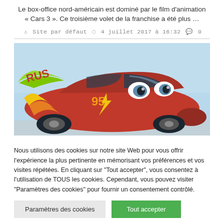Le box-office nord-américain est dominé par le film d'animation « Cars 3 ». Ce troisième volet de la franchise a été plus …
Site par défaut  4 juillet 2017 à 16:32  0
[Figure (photo): Photo du film d'animation Cars 3 montrant la voiture rouge Lightning McQueen avec des décorations jaunes, sur fond de ciel bleu.]
Nous utilisons des cookies sur notre site Web pour vous offrir l'expérience la plus pertinente en mémorisant vos préférences et vos visites répétées. En cliquant sur "Tout accepter", vous consentez à l'utilisation de TOUS les cookies. Cependant, vous pouvez visiter "Paramètres des cookies" pour fournir un consentement contrôlé.
Paramètres des cookies
Tout accepter